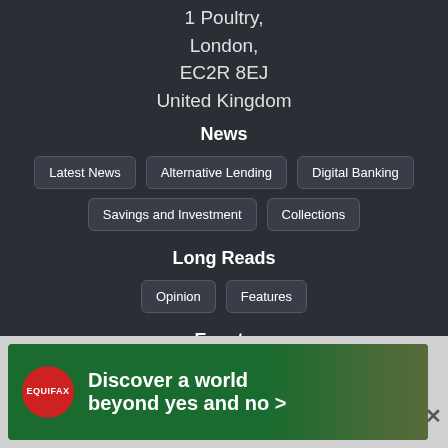1 Poultry,
London,
EC2R 8EJ
United Kingdom
News
Latest News
Alternative Lending
Digital Banking
Savings and Investment
Collections
Long Reads
Opinion
Features
Events
Money Talks: Raising Venture Capital As A Fintech
AltFi Startup Forum 2022
[Figure (infographic): Equifax advertisement banner: red circular logo with EQUIFAX text, green background, bold white text 'Discover a world beyond yes and no >' with image of hands]
All Events